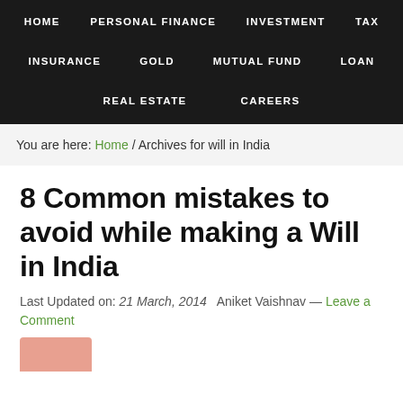HOME  PERSONAL FINANCE  INVESTMENT  TAX  INSURANCE  GOLD  MUTUAL FUND  LOAN  REAL ESTATE  CAREERS
You are here: Home / Archives for will in India
8 Common mistakes to avoid while making a Will in India
Last Updated on: 21 March, 2014   Aniket Vaishnav — Leave a Comment
[Figure (photo): Partial image visible at bottom of page, appears to show a hand or person, cropped]